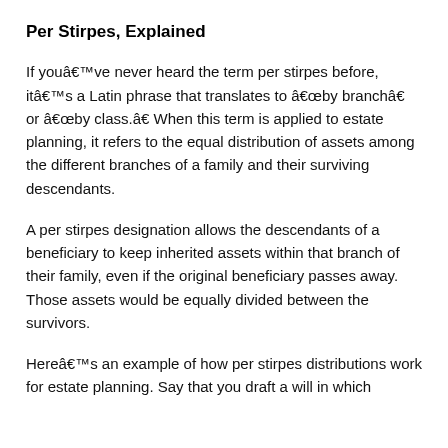Per Stirpes, Explained
If youâve never heard the term per stirpes before, itâs a Latin phrase that translates to âby branchâ or âby class.â When this term is applied to estate planning, it refers to the equal distribution of assets among the different branches of a family and their surviving descendants.
A per stirpes designation allows the descendants of a beneficiary to keep inherited assets within that branch of their family, even if the original beneficiary passes away. Those assets would be equally divided between the survivors.
Hereâs an example of how per stirpes distributions work for estate planning. Say that you draft a will in which